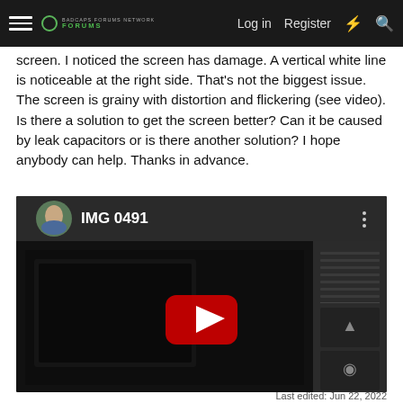Navigation bar with menu, logo, Log in, Register, and search icons
screen. I noticed the screen has damage. A vertical white line is noticeable at the right side. That's not the biggest issue. The screen is grainy with distortion and flickering (see video). Is there a solution to get the screen better? Can it be caused by leak capacitors or is there another solution? I hope anybody can help. Thanks in advance.
[Figure (screenshot): YouTube video thumbnail embed showing 'IMG 0491' with a user avatar, dark video frame showing electronic equipment with a red YouTube play button overlay in the center, and a sidebar panel to the right.]
Last edited: Jun 22, 2022